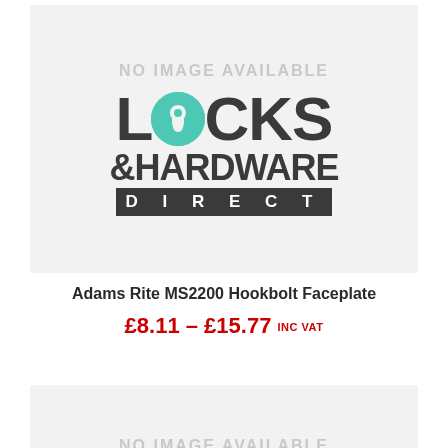[Figure (logo): Locks & Hardware Direct logo with teal keyhole-O, large bold LOCKS text, &HARDWARE text, and DIRECT bar on dark background. Shown inside a light grey 'NO IMAGE AVAILABLE' placeholder card.]
Adams Rite MS2200 Hookbolt Faceplate
£8.11 – £15.77 INC VAT
[Figure (other): Second 'NO IMAGE AVAILABLE' placeholder card, partially visible at bottom of page.]